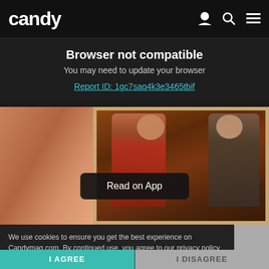candy
Browser not compatible
You may need to update your browser
Report ID: 1gc7saq4k3e3465tbif
[Figure (photo): Collage: left side shows a hand holding something small; right side shows a young woman in red and a young man at what appears to be a restaurant or event, inside a photo frame. A 'Read on App' button overlays the image.]
We use cookies to ensure you get the best experience on Candymag.com. By continued use, you agree to our privacy policy and accept our use of such cookies. Find out more here.Find out more here.
I AGREE
I DISAGREE